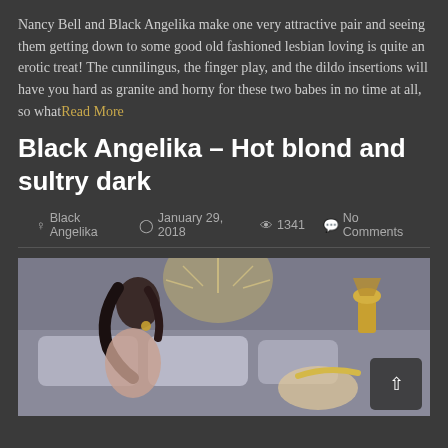Nancy Bell and Black Angelika make one very attractive pair and seeing them getting down to some good old fashioned lesbian loving is quite an erotic treat! The cunnilingus, the finger play, and the dildo insertions will have you hard as granite and horny for these two babes in no time at all, so what Read More
Black Angelika – Hot blond and sultry dark
Black Angelika   January 29, 2018   1341   No Comments
[Figure (photo): Two women on a bed in a bedroom scene with decorative headboard and gold lamp]